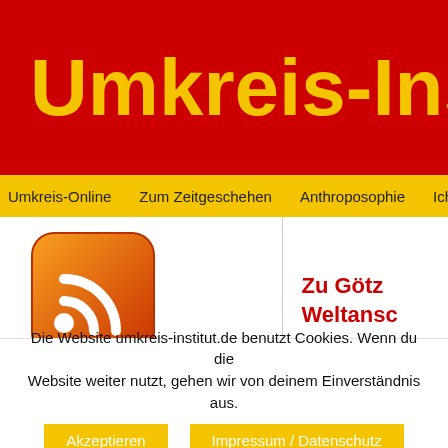Umkreis-Institu
Umkreis-Online   Zum Zeitgeschehen   Anthroposophie   Ich bi
[Figure (logo): RSS feed icon: orange rounded square with white RSS symbol]
5G Mobilfunk - 9/11 - 100
Zu Götz
Weltansc
Götz Werne
Die Website umkeis-institut.de benutzt Cookies. Wenn du die Website weiter nutzt, gehen wir von deinem Einverständnis aus.
Akzeptieren
Impressum / Datenschutz